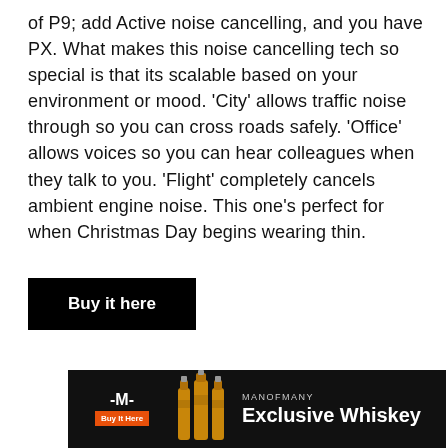of P9; add Active noise cancelling, and you have PX. What makes this noise cancelling tech so special is that its scalable based on your environment or mood. 'City' allows traffic noise through so you can cross roads safely. 'Office' allows voices so you can hear colleagues when they talk to you. 'Flight' completely cancels ambient engine noise. This one's perfect for when Christmas Day begins wearing thin.
Buy it here
[Figure (infographic): Advertisement banner for Man of Many Exclusive Whiskey. Black background with Man of Many logo, orange 'Buy It Here' button, whiskey bottle images, and text 'MANOFMANY Exclusive Whiskey'.]